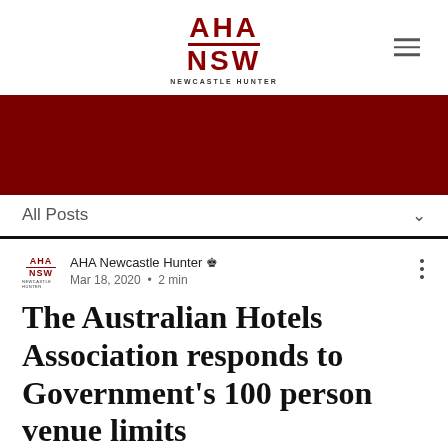[Figure (logo): AHA NSW Newcastle Hunter logo in dark red with horizontal rule and subtitle]
[Figure (other): Dark red banner image]
All Posts ∨
AHA Newcastle Hunter 👑 Mar 18, 2020 · 2 min
The Australian Hotels Association responds to Government's 100 person venue limits